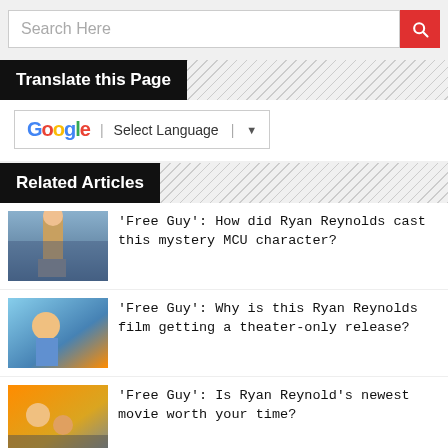Search Here
Translate this Page
[Figure (other): Google Translate widget with 'Select Language' dropdown]
Related Articles
[Figure (photo): Thumbnail image for Free Guy MCU article]
'Free Guy': How did Ryan Reynolds cast this mystery MCU character?
[Figure (photo): Thumbnail image for Free Guy theater-only release article]
'Free Guy': Why is this Ryan Reynolds film getting a theater-only release?
[Figure (photo): Thumbnail image for Free Guy newest movie article]
'Free Guy': Is Ryan Reynold's newest movie worth your time?
[Figure (photo): Thumbnail image for Ryan Reynolds after Free Guy article]
What's next for Ryan Reynolds after 'Free Guy' movie success?